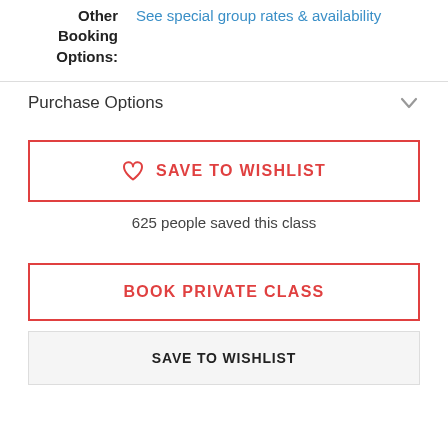Location: Live Online
Other Booking Options: See special group rates & availability
Purchase Options
♡ SAVE TO WISHLIST
625 people saved this class
BOOK PRIVATE CLASS
SAVE TO WISHLIST